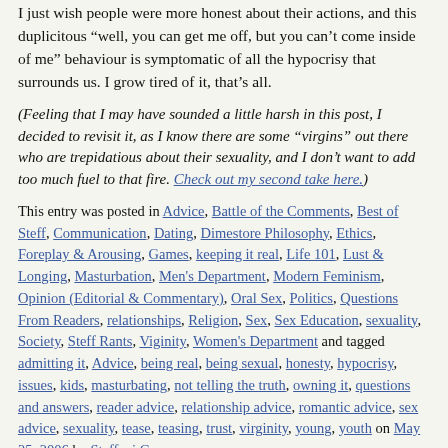YOU. I just wish people were more honest about their actions, and this duplicitous "well, you can get me off, but you can't come inside of me" behaviour is symptomatic of all the hypocrisy that surrounds us. I grow tired of it, that's all.
(Feeling that I may have sounded a little harsh in this post, I decided to revisit it, as I know there are some "virgins" out there who are trepidatious about their sexuality, and I don't want to add too much fuel to that fire. Check out my second take here.)
This entry was posted in Advice, Battle of the Comments, Best of Steff, Communication, Dating, Dimestore Philosophy, Ethics, Foreplay & Arousing, Games, keeping it real, Life 101, Lust & Longing, Masturbation, Men's Department, Modern Feminism, Opinion (Editorial & Commentary), Oral Sex, Politics, Questions From Readers, relationships, Religion, Sex, Sex Education, sexuality, Society, Steff Rants, Viginity, Women's Department and tagged admitting it, Advice, being real, being sexual, honesty, hypocrisy, issues, kids, masturbating, not telling the truth, owning it, questions and answers, reader advice, relationship advice, romantic advice, sex advice, sexuality, tease, teasing, trust, virginity, young, youth on May 25, 2006 by Steffani Cameron.
Unleashing Your Vixen: Moves From the Bottom